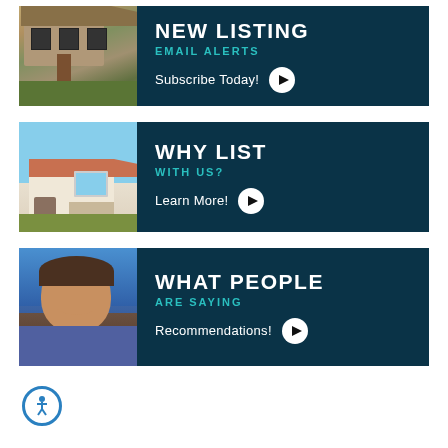[Figure (infographic): Banner with house photo and dark teal background. Title: NEW LISTING, Subtitle: EMAIL ALERTS, CTA: Subscribe Today! with play button]
[Figure (infographic): Banner with Mediterranean house photo and dark teal background. Title: WHY LIST, Subtitle: WITH US?, CTA: Learn More! with play button]
[Figure (infographic): Banner with man's headshot and dark teal background. Title: WHAT PEOPLE, Subtitle: ARE SAYING, CTA: Recommendations! with play button]